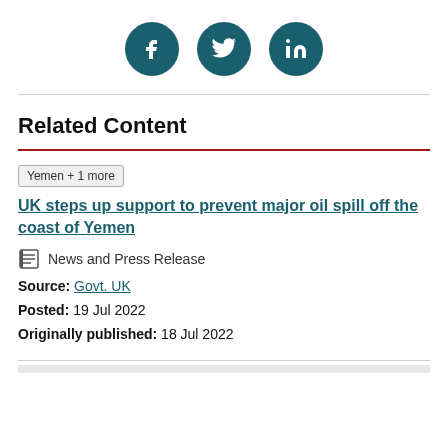[Figure (illustration): Three social media icon circles (Facebook, Twitter, LinkedIn) in dark teal color arranged horizontally]
Related Content
Yemen + 1 more   UK steps up support to prevent major oil spill off the coast of Yemen
News and Press Release
Source: Govt. UK
Posted: 19 Jul 2022
Originally published: 18 Jul 2022